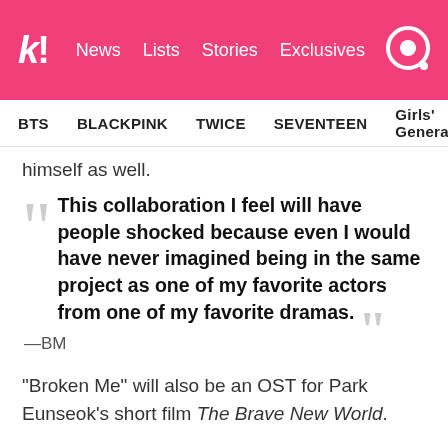Koreaboo — News | Lists | Stories | Exclusives
BTS   BLACKPINK   TWICE   SEVENTEEN   Girls' Generation
himself as well.
"This collaboration I feel will have people shocked because even I would have never imagined being in the same project as one of my favorite actors from one of my favorite dramas." —BM
"Broken Me" will also be an OST for Park Eunseok's short film The Brave New World.